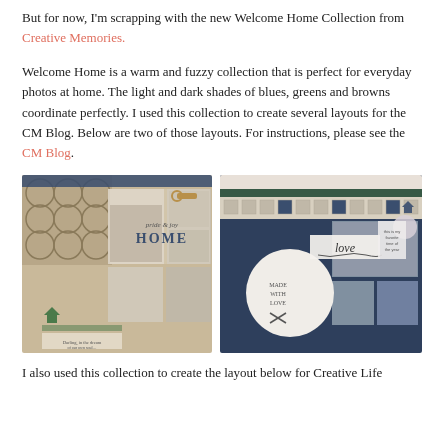But for now, I'm scrapping with the new Welcome Home Collection from Creative Memories.
Welcome Home is a warm and fuzzy collection that is perfect for everyday photos at home. The light and dark shades of blues, greens and browns coordinate perfectly. I used this collection to create several layouts for the CM Blog. Below are two of those layouts. For instructions, please see the CM Blog.
[Figure (photo): Two scrapbook layout pages side by side. Left layout features hexagon patterned background with home photos and 'pride & joy HOME' text. Right layout features navy blue background with family photos, a mug, and 'love' script text.]
I also used this collection to create the layout below for Creative Life